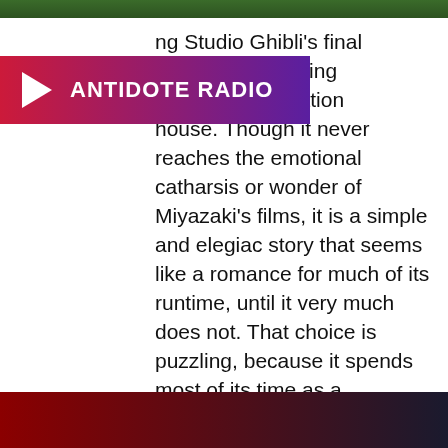[Figure (photo): Green foliage/nature image strip at top of page]
[Figure (logo): Antidote Radio banner with play button icon, gradient from red to purple]
ng Studio Ghibli's final ossible, it is a fitting legendary animation house. Though it never reaches the emotional catharsis or wonder of Miyazaki's films, it is a simple and elegiac story that seems like a romance for much of its runtime, until it very much does not. That choice is puzzling, because it spends most of its time as a beautifully touching horror film, which is very interesting. No one else tells stories the way Ghibli does, and there are images and moments here that are as affecting as anything else they've done, mysterious and gorgeous, quiet and ghostly.
[Figure (other): Dark gradient footer bar, red to dark blue/black]